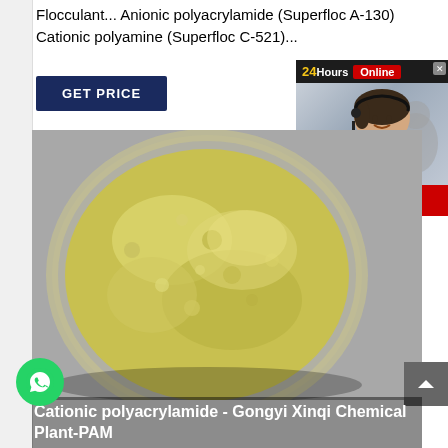Flocculant... Anionic polyacrylamide (Superfloc A-130) Cationic polyamine (Superfloc C-521)...
[Figure (screenshot): GET PRICE button - dark navy blue rectangular button with white bold text]
[Figure (screenshot): 24Hours Online chat widget - dark header with yellow '24', white 'Hours', red 'Online' badge, close X, photo of female customer service agent with headset, red 'Click To Chat' button]
[Figure (photo): Yellow-green powder in a clear glass bowl, overhead view, on a gray background]
[Figure (screenshot): WhatsApp green circular button with phone icon on left side]
[Figure (screenshot): Gray scroll-to-top button with upward chevron on right side]
Cationic polyacrylamide - Gongyi Xinqi Chemical Plant-PAM